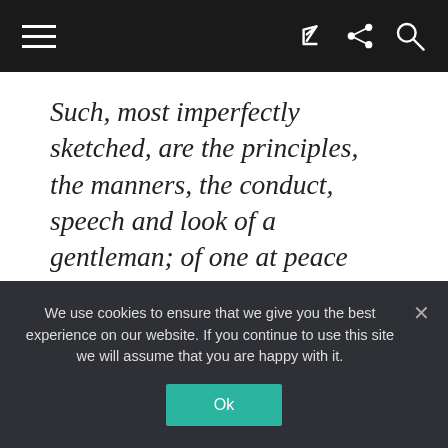[Navigation bar with hamburger menu, share icon, and search icon]
Such, most imperfectly sketched, are the principles, the manners, the conduct, speech and look of a gentleman; of one at peace within himself, in charity towards all; in reliance upon the goodness and paternal Providence of God; walking uprightly, purely, confidingly and blandly among his fellow men; striving to the end of his days, consistently and conscientiously.
We use cookies to ensure that we give you the best experience on our website. If you continue to use this site we will assume that you are happy with it.